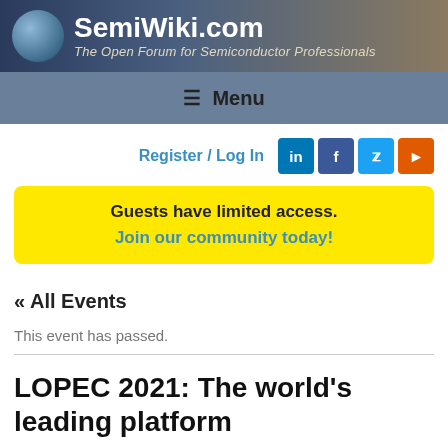SemiWiki.com — The Open Forum for Semiconductor Professionals
≡ Menu
Register / Log In
« All Events
This event has passed.
LOPEC 2021: The world's leading platform